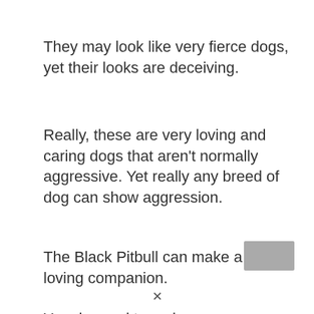They may look like very fierce dogs, yet their looks are deceiving.
Really, these are very loving and caring dogs that aren't normally aggressive. Yet really any breed of dog can show aggression.
The Black Pitbull can make a loving companion.
You do need to make sure you train